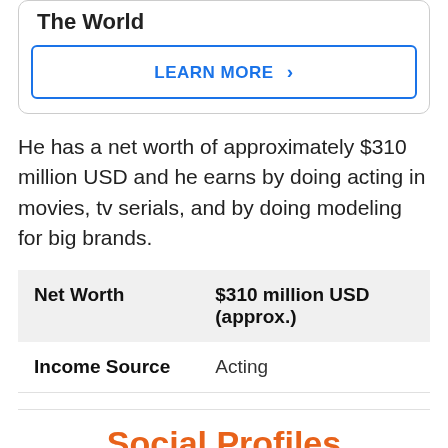The World
LEARN MORE
He has a net worth of approximately $310 million USD and he earns by doing acting in movies, tv serials, and by doing modeling for big brands.
| Net Worth | $310 million USD (approx.) |
| Income Source | Acting |
Social Profiles
He is very active on his social media platforms like